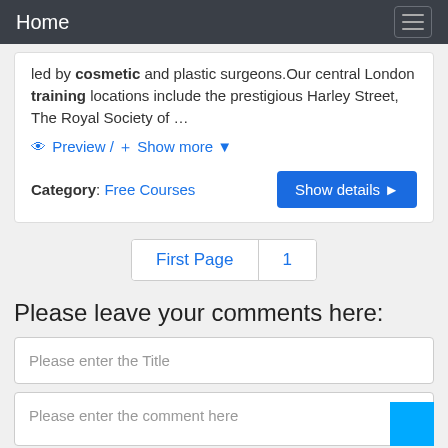Home
led by cosmetic and plastic surgeons.Our central London training locations include the prestigious Harley Street, The Royal Society of …
👁 Preview / + Show more ▼
Category: Free Courses
First Page  1
Please leave your comments here:
Please enter the Title
Please enter the comment here